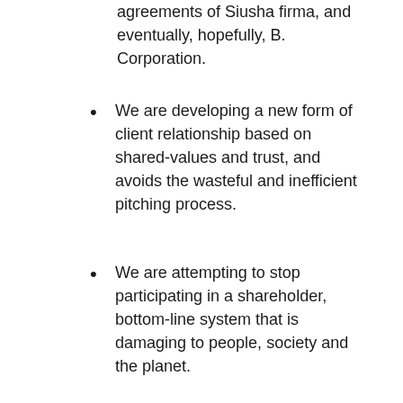agreements of Siusha firma, and eventually, hopefully, B. Corporation.
We are developing a new form of client relationship based on shared-values and trust, and avoids the wasteful and inefficient pitching process.
We are attempting to stop participating in a shareholder, bottom-line system that is damaging to people, society and the planet.